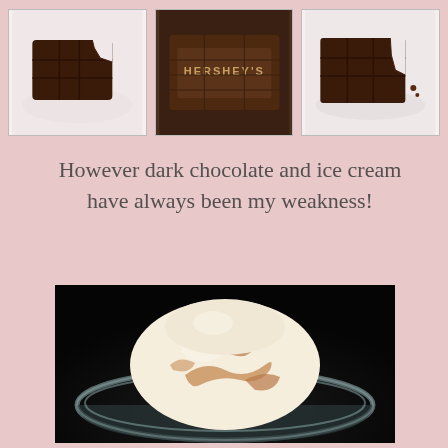[Figure (photo): Three thumbnail photos of chocolate: a dark chocolate bar with bite taken out on white plate, a Hershey's chocolate bar showing embossed branding, and a piece of dark chocolate on a plate]
However dark chocolate and ice cream have always been my weakness!
[Figure (photo): A glass bowl containing scoops of ice cream with chocolate swirls, photographed on a dark background]